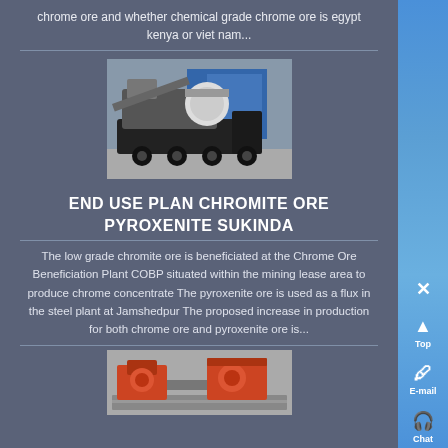chrome ore and whether chemical grade chrome ore is egypt kenya or viet nam...
[Figure (photo): Industrial mobile crushing/mining machine on a truck, outdoors with blue buildings in background]
END USE PLAN CHROMITE ORE PYROXENITE SUKINDA
The low grade chromite ore is beneficiated at the Chrome Ore Beneficiation Plant COBP situated within the mining lease area to produce chrome concentrate The pyroxenite ore is used as a flux in the steel plant at Jamshedpur The proposed increase in production for both chrome ore and pyroxenite ore is...
[Figure (photo): Industrial machinery equipment, appears to be roller or mill equipment in a factory setting]